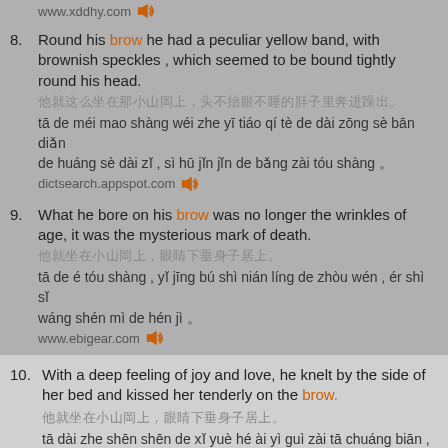www.xddhy.com
8. Round his brow he had a peculiar yellow band, with brownish speckles , which seemed to be bound tightly round his head.
[Chinese characters]
tā de méi mao shàng wéi zhe yī tiáo qí tè de dài zōng sè bān diǎn de huáng sè dài zǐ , sì hū jǐn jǐn de bǎng zài tóu shàng 。
dictsearch.appspot.com
9. What he bore on his brow was no longer the wrinkles of age, it was the mysterious mark of death.
[Chinese characters]
tā de é tóu shàng , yǐ jīng bú shì nián líng de zhòu wén , ér shì sǐ wáng shén mì de hén jì 。
www.ebigear.com
10. With a deep feeling of joy and love, he knelt by the side of her bed and kissed her tenderly on the brow.
[Chinese characters]
tā dài zhe shēn shēn de xǐ yuè hé ài yì guì zài tā chuáng biān , bìng wēn róu de zài tā de méi shàng wěn le yí xià 。